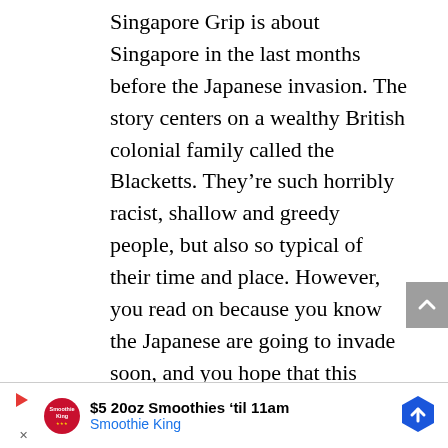Singapore Grip is about Singapore in the last months before the Japanese invasion. The story centers on a wealthy British colonial family called the Blacketts. They're such horribly racist, shallow and greedy people, but also so typical of their time and place. However, you read on because you know the Japanese are going to invade soon, and you hope that this oblivious family gets its comeuppance. Then there's the idealistic, ahead-of-his-times nerd of all nerds, Matthew. He's the estranged and wayward son of Walter's
[Figure (other): Advertisement banner for Smoothie King: '$5 20oz Smoothies til 11am' with Smoothie King logo, play button, close button, and blue hexagon arrow icon]